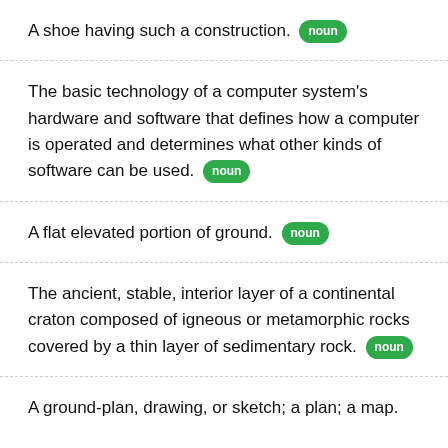A shoe having such a construction. [noun]
The basic technology of a computer system's hardware and software that defines how a computer is operated and determines what other kinds of software can be used. [noun]
A flat elevated portion of ground. [noun]
The ancient, stable, interior layer of a continental craton composed of igneous or metamorphic rocks covered by a thin layer of sedimentary rock. [noun]
A ground-plan, drawing, or sketch; a plan; a map.